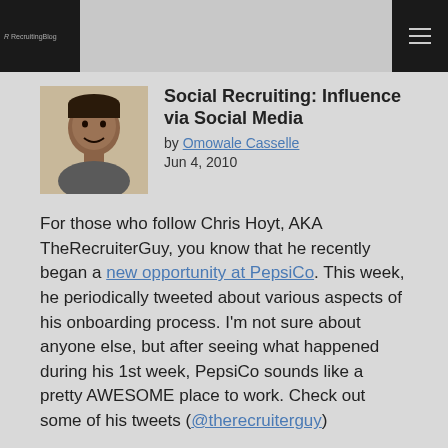RecruitingBlog
Social Recruiting: Influence via Social Media
by Omowale Casselle
Jun 4, 2010
For those who follow Chris Hoyt, AKA TheRecruiterGuy, you know that he recently began a new opportunity at PepsiCo. This week, he periodically tweeted about various aspects of his onboarding process. I'm not sure about anyone else, but after seeing what happened during his 1st week, PepsiCo sounds like a pretty AWESOME place to work. Check out some of his tweets (@therecruiterguy)
PepsiCo has some impressive wellness programs for active lifestyles and preventative activities w/great rewards ($$$!) #onboarding
I'm not just "hearing" the PepsiCo diversity & inclusion